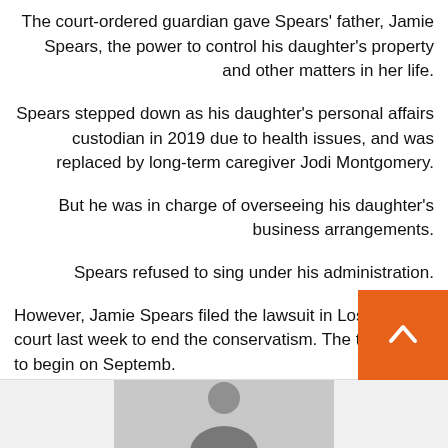The court-ordered guardian gave Spears' father, Jamie Spears, the power to control his daughter's property and other matters in her life.
Spears stepped down as his daughter's personal affairs custodian in 2019 due to health issues, and was replaced by long-term caregiver Jodi Montgomery.
But he was in charge of overseeing his daughter's business arrangements.
Spears refused to sing under his administration.
However, Jamie Spears filed the lawsuit in Los Angeles court last week to end the conservatism. The trial is set to begin on Septemb
[Figure (photo): Photo of a person, partially visible at the bottom of the page.]